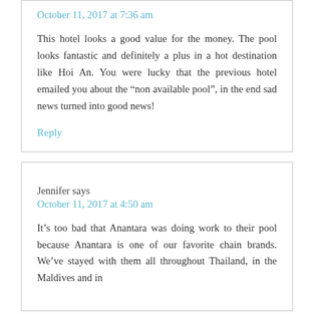October 11, 2017 at 7:36 am
This hotel looks a good value for the money. The pool looks fantastic and definitely a plus in a hot destination like Hoi An. You were lucky that the previous hotel emailed you about the “non available pool”, in the end sad news turned into good news!
Reply
Jennifer says
October 11, 2017 at 4:50 am
It’s too bad that Anantara was doing work to their pool because Anantara is one of our favorite chain brands. We’ve stayed with them all throughout Thailand, in the Maldives and in